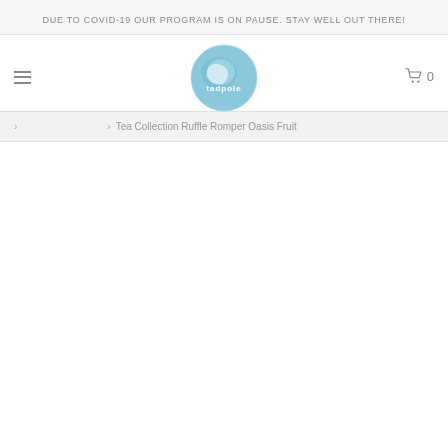DUE TO COVID-19 OUR PROGRAM IS ON PAUSE. STAY WELL OUT THERE!
[Figure (logo): Tadpole logo: a circular light blue badge with a stylized wave/tadpole shape and the word 'tadpole' in white text]
› Tea Collection Ruffle Romper Oasis Fruit